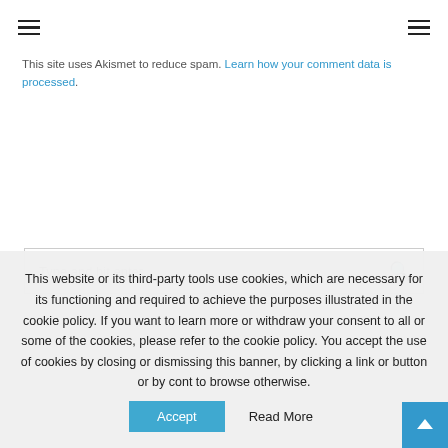Navigation bar with hamburger menus on left and right
This site uses Akismet to reduce spam. Learn how your comment data is processed.
[Figure (screenshot): Search input box with placeholder 'Type and hit enter...' and a search icon on the right]
This website or its third-party tools use cookies, which are necessary for its functioning and required to achieve the purposes illustrated in the cookie policy. If you want to learn more or withdraw your consent to all or some of the cookies, please refer to the cookie policy. You accept the use of cookies by closing or dismissing this banner, by clicking a link or button or by cont to browse otherwise.
Accept   Read More